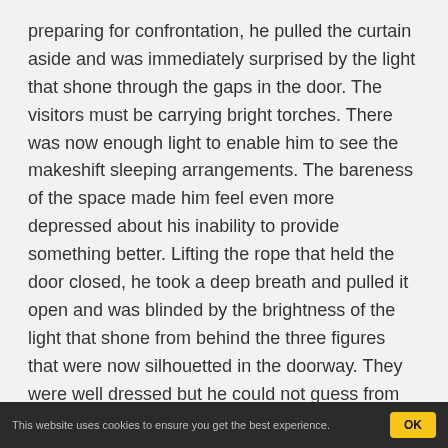preparing for confrontation, he pulled the curtain aside and was immediately surprised by the light that shone through the gaps in the door. The visitors must be carrying bright torches. There was now enough light to enable him to see the makeshift sleeping arrangements. The bareness of the space made him feel even more depressed about his inability to provide something better. Lifting the rope that held the door closed, he took a deep breath and pulled it open and was blinded by the brightness of the light that shone from behind the three figures that were now silhouetted in the doorway. They were well dressed but he could not guess from where they had come, his eyes could not make out the style of their clothing.
The tall figure on his right spoke, in the accented voice he had heard earlier: "We know you have a child in there."
This website uses cookies to ensure you get the best experience.